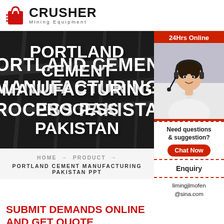CRUSHER Mining Equipment
PORTLAND CEMENT MANUFACTURING PROCESS PAKISTAN
HOME → PRODUCT → PORTLAND CEMENT MANUFACTURING PAKISTAN PPT
[Figure (photo): Customer service representative with headset, sidebar widget with 24Hrs Online label, Need questions & suggestion? text, Chat Now button, Enquiry link, limingjlmofen@sina.com email]
SUBMIT DEMANDS ONLINE AND GET QUOTE